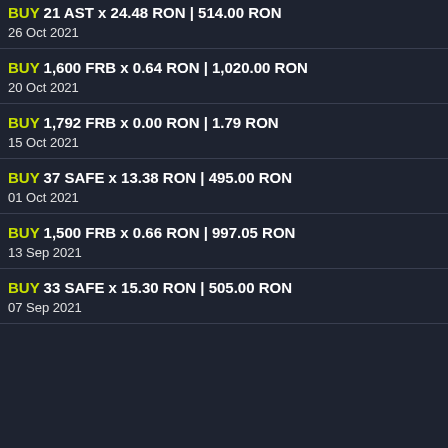BUY 21 AST x 24.48 RON | 514.00 RON
26 Oct 2021
BUY 1,600 FRB x 0.64 RON | 1,020.00 RON
20 Oct 2021
BUY 1,792 FRB x 0.00 RON | 1.79 RON
15 Oct 2021
BUY 37 SAFE x 13.38 RON | 495.00 RON
01 Oct 2021
BUY 1,500 FRB x 0.66 RON | 997.05 RON
13 Sep 2021
BUY 33 SAFE x 15.30 RON | 505.00 RON
07 Sep 2021